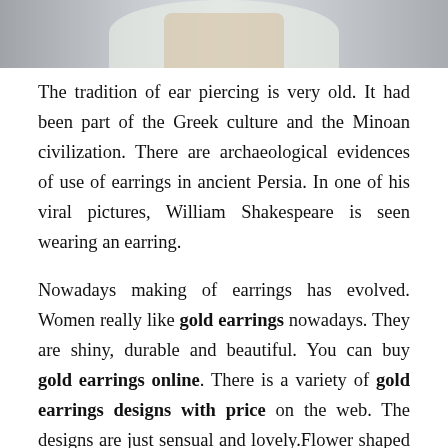[Figure (photo): Partial photo of a person wearing a floral outfit, cropped at the top of the page]
The tradition of ear piercing is very old. It had been part of the Greek culture and the Minoan civilization. There are archaeological evidences of use of earrings in ancient Persia. In one of his viral pictures, William Shakespeare is seen wearing an earring.
Nowadays making of earrings has evolved. Women really like gold earrings nowadays. They are shiny, durable and beautiful. You can buy gold earrings online. There is a variety of gold earrings designs with price on the web. The designs are just sensual and lovely.Flower shaped earrings with stone studded in them. There are also butterfly earrings.Heart-shaped earrings are also available. Hoop earrings made of 18k gold are simply the best choice you can have. With these in ear you can go to a party thrown by your friends or to a date as well. They make you